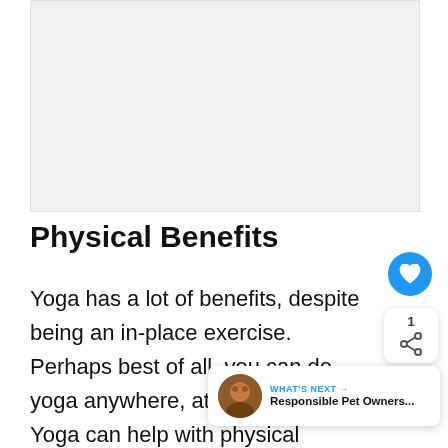[Figure (photo): Placeholder image area at top of page, light gray background]
Physical Benefits
Yoga has a lot of benefits, despite being an in-place exercise. Perhaps best of all, you can do yoga anywhere, at home or studio! Yoga can help with physical attributes, such as flexibility, better